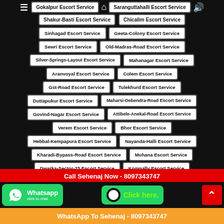Gokalpur Escort Service
Saranguttahalli Escort Service
Shakur-Basti Escort Service
Chicalim Escort Service
Sinhagad Escort Service
Geeta-Colony Escort Service
Sewri Escort Service
Old-Madras-Road Escort Service
Silver-Springs-Layout Escort Service
Mahanagar Escort Service
Aranvoyal Escort Service
Colem Escort Service
Gst-Road Escort Service
Tulekhurd Escort Service
Duttapukur Escort Service
Maharsi-Debendra-Road Escort Service
Govind-Nagar Escort Service
Attibele-Anekal-Road Escort Service
Verem Escort Service
Bhor Escort Service
Hebbal-Kempapura Escort Service
Nayanda-Halli Escort Service
Kharadi-Bypass-Road Escort Service
Muhana Escort Service
Dwarka-Sector-23 Escort Service
Kompally Escort Service
Call Sehenaj Now - 8097343747
WhatsApp To Sehenaj - 8097343747